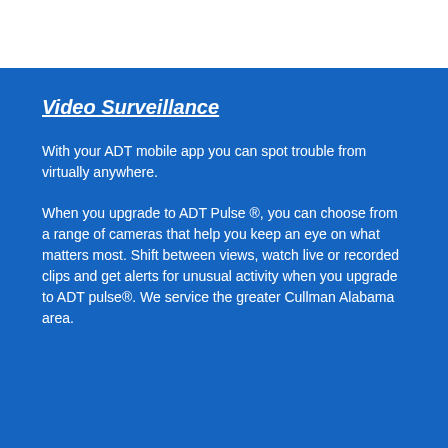Video Surveillance
With your ADT mobile app you can spot trouble from virtually anywhere.
When you upgrade to ADT Pulse ®, you can choose from a range of cameras that help you keep an eye on what matters most. Shift between views, watch live or recorded clips and get alerts for unusual activity when you upgrade to ADT pulse®. We service the greater Cullman Alabama area.